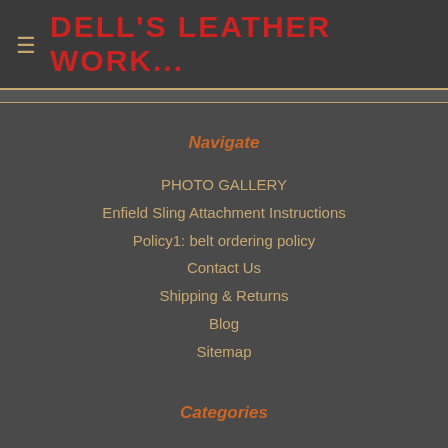DELL'S LEATHER WORK...
Navigate
PHOTO GALLERY
Enfield Sling Attachment Instructions
Policy1: belt ordering policy
Contact Us
Shipping & Returns
Blog
Sitemap
Categories
Artillery
Bargain Bench
Firemen - Historical Designs
Belts